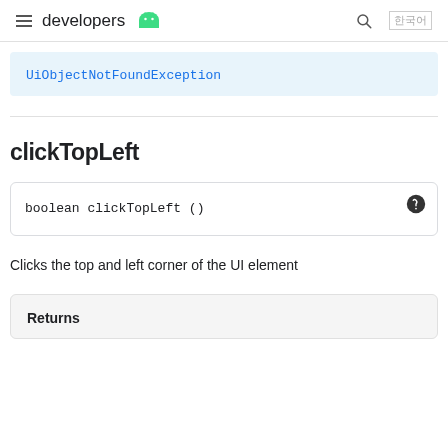developers (Android logo)
UiObjectNotFoundException
clickTopLeft
boolean clickTopLeft ()
Clicks the top and left corner of the UI element
| Returns |
| --- |